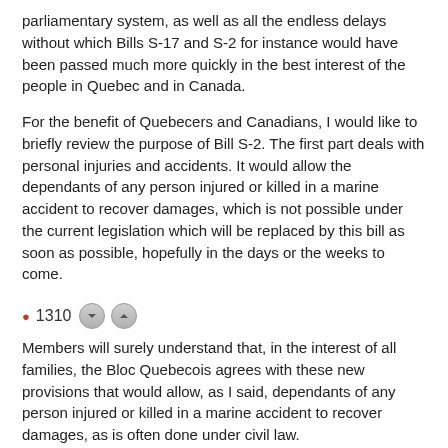parliamentary system, as well as all the endless delays without which Bills S-17 and S-2 for instance would have been passed much more quickly in the best interest of the people in Quebec and in Canada.
For the benefit of Quebecers and Canadians, I would like to briefly review the purpose of Bill S-2. The first part deals with personal injuries and accidents. It would allow the dependants of any person injured or killed in a marine accident to recover damages, which is not possible under the current legislation which will be replaced by this bill as soon as possible, hopefully in the days or the weeks to come.
@ 1310 [navigation buttons]
Members will surely understand that, in the interest of all families, the Bloc Quebecois agrees with these new provisions that would allow, as I said, dependants of any person injured or killed in a marine accident to recover damages, as is often done under civil law.
The second part sets the rules for the appointment of liability. Obviously, this is based on the principle that, if several persons